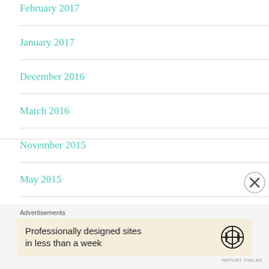February 2017
January 2017
December 2016
March 2016
November 2015
May 2015
April 2015
Advertisements
Professionally designed sites in less than a week